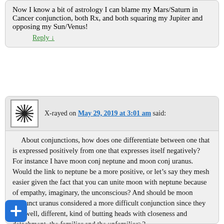Now I know a bit of astrology I can blame my Mars/Saturn in Cancer conjunction, both Rx, and both squaring my Jupiter and opposing my Sun/Venus!
Reply ↓
X-rayed on May 29, 2019 at 3:01 am said:
About conjunctions, how does one differentiate between one that is expressed positively from one that expresses itself negatively?
For instance I have moon conj neptune and moon conj uranus. Would the link to neptune be a more positive, or let’s say they mesh easier given the fact that you can unite moon with neptune because of empathy, imaginary, the unconscious? And should be moon conjunct uranus considered a more difficult conjunction since they are, well, different, kind of butting heads with closeness and detachment, the familiar and the unfamiliar>?
Also, venus conjunct something it’s usually positive but what if it’s with the sun and it’s below a certain degree. Curious if astrologers take in consideration about the whole "under the sun’s beams" or even the case where venus is burned by the sun. A venus conjunction is still a conjunction though so how much can it lessen its force. Any thoughts?
Reply ↓